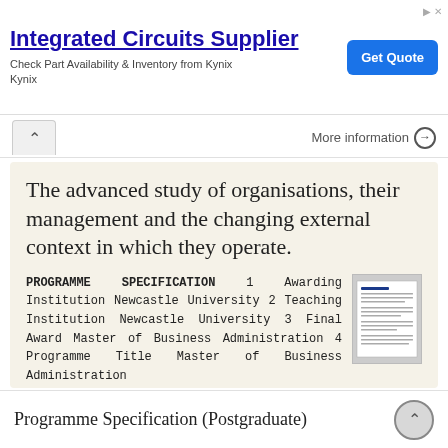[Figure (other): Advertisement banner for Integrated Circuits Supplier - Kynix, with Get Quote button]
More information →
The advanced study of organisations, their management and the changing external context in which they operate.
PROGRAMME SPECIFICATION 1 Awarding Institution Newcastle University 2 Teaching Institution Newcastle University 3 Final Award Master of Business Administration 4 Programme Title Master of Business Administration
More information →
Programme Specification (Postgraduate)